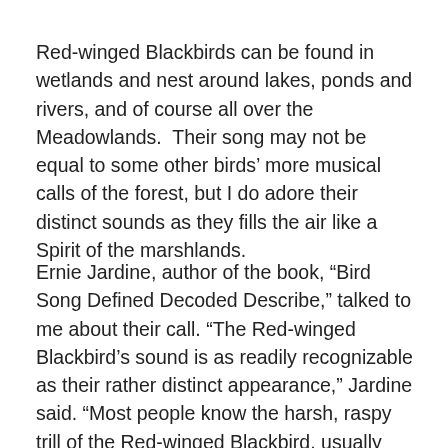Red-winged Blackbirds can be found in wetlands and nest around lakes, ponds and rivers, and of course all over the Meadowlands.  Their song may not be equal to some other birds' more musical calls of the forest, but I do adore their distinct sounds as they fills the air like a Spirit of the marshlands.
Ernie Jardine, author of the book, “Bird Song Defined Decoded Describe,” talked to me about their call. “The Red-winged Blackbird’s sound is as readily recognizable as their rather distinct appearance,” Jardine said. “Most people know the harsh, raspy trill of the Red-winged Blackbird, usually pulsing forth